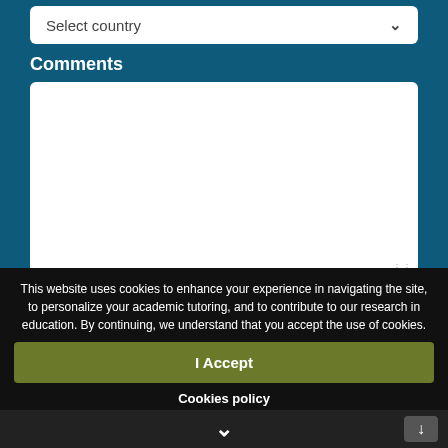Select country
Comments
I accept the data privacy policy
This website uses cookies to enhance your experience in navigating the site, to personalize your academic tutoring, and to contribute to our research in education. By continuing, we understand that you accept the use of cookies.
I Accept
Cookies policy